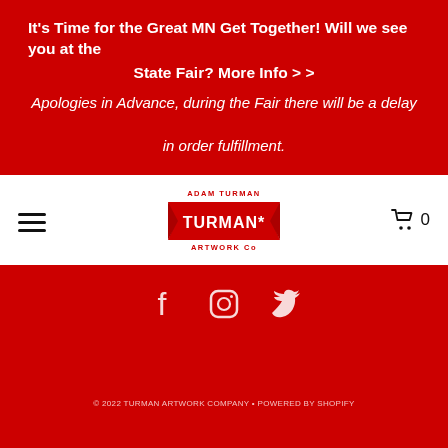It's Time for the Great MN Get Together! Will we see you at the State Fair? More Info > >
Apologies in Advance, during the Fair there will be a delay in order fulfillment.
[Figure (logo): Adam Turman Artwork Co logo in red on white background, stylized banner with 'TURMAN*' in center]
[Figure (infographic): Social media icons: Facebook, Instagram, Twitter in white on red background]
© 2022 TURMAN ARTWORK COMPANY • POWERED BY SHOPIFY